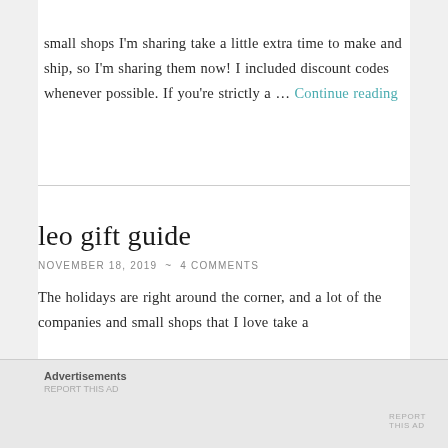small shops I'm sharing take a little extra time to make and ship, so I'm sharing them now! I included discount codes whenever possible. If you're strictly a … Continue reading
leo gift guide
NOVEMBER 18, 2019  ~  4 COMMENTS
The holidays are right around the corner, and a lot of the companies and small shops that I love take a
Advertisements